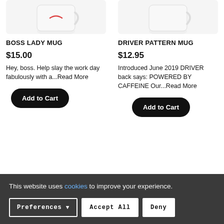[Figure (photo): Boss Lady Mug product image, partially cropped at top]
BOSS LADY MUG
$15.00
Hey, boss. Help slay the work day fabulously with a...Read More
Add to Cart
[Figure (photo): Driver Pattern Mug product image, partially cropped at top]
DRIVER PATTERN MUG
$12.95
Introduced June 2019 DRIVER back says: POWERED BY CAFFEINE Our...Read More
Add to Cart
This website uses cookies to improve your experience.
Preferences
Accept All
Deny